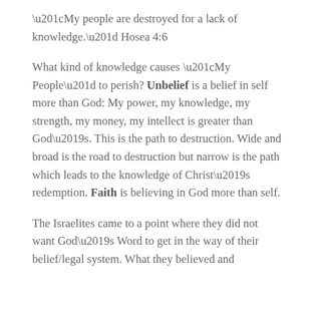“My people are destroyed for a lack of knowledge.” Hosea 4:6
What kind of knowledge causes “My People” to perish? Unbelief is a belief in self more than God: My power, my knowledge, my strength, my money, my intellect is greater than God’s. This is the path to destruction. Wide and broad is the road to destruction but narrow is the path which leads to the knowledge of Christ’s redemption. Faith is believing in God more than self.
The Israelites came to a point where they did not want God’s Word to get in the way of their belief/legal system. What they believed and